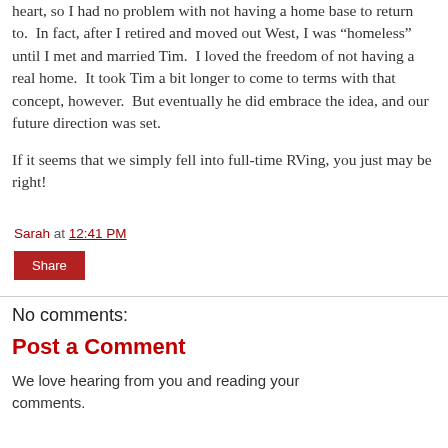heart, so I had no problem with not having a home base to return to.  In fact, after I retired and moved out West, I was “homeless” until I met and married Tim.  I loved the freedom of not having a real home.  It took Tim a bit longer to come to terms with that concept, however.  But eventually he did embrace the idea, and our future direction was set.

If it seems that we simply fell into full-time RVing, you just may be right!
Sarah at 12:41 PM
Share
No comments:
Post a Comment
We love hearing from you and reading your comments.